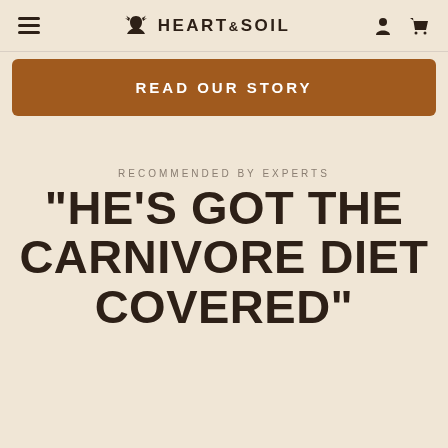HEART&SOIL
READ OUR STORY
RECOMMENDED BY EXPERTS
"HE'S GOT THE CARNIVORE DIET COVERED"